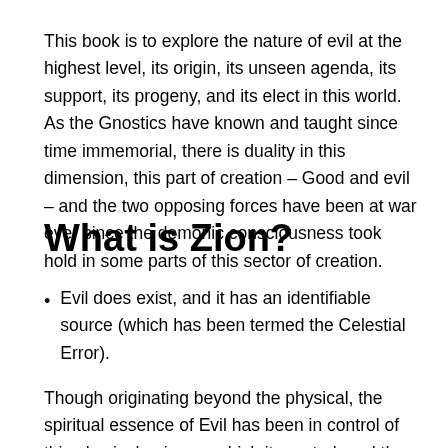This book is to explore the nature of evil at the highest level, its origin, its unseen agenda, its support, its progeny, and its elect in this world. As the Gnostics have known and taught since time immemorial, there is duality in this dimension, this part of creation – Good and evil – and the two opposing forces have been at war ever since the demonic consciousness took hold in some parts of this sector of creation.
What is Zion?
Evil does exist, and it has an identifiable source (which has been termed the Celestial Error).
Though originating beyond the physical, the spiritual essence of Evil has been in control of this physical universe which it created, and the